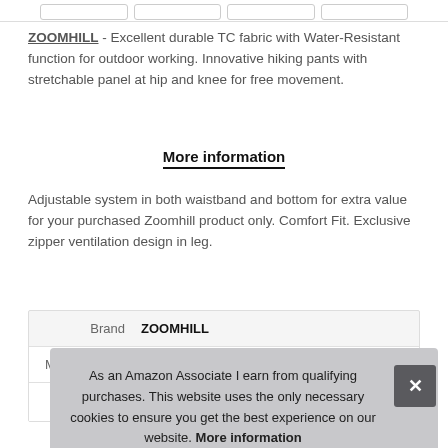[Figure (other): Top navigation bar with four rectangular placeholder boxes]
ZOOMHILL - Excellent durable TC fabric with Water-Resistant function for outdoor working. Innovative hiking pants with stretchable panel at hip and knee for free movement.
More information
Adjustable system in both waistband and bottom for extra value for your purchased Zoomhill product only. Comfort Fit. Exclusive zipper ventilation design in leg.
| Brand | Value |
| --- | --- |
| Brand | ZOOMHILL |
| Ma |  |
As an Amazon Associate I earn from qualifying purchases. This website uses the only necessary cookies to ensure you get the best experience on our website. More information